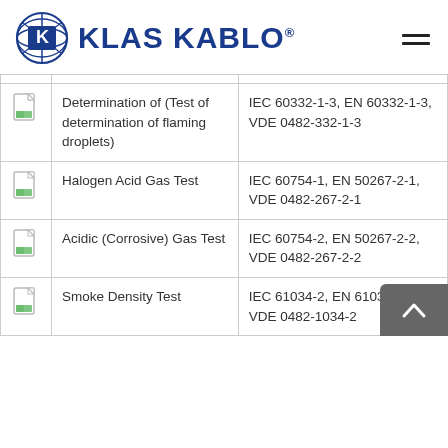KLAS KABLO
|  | Test Name | Standards |
| --- | --- | --- |
| [icon] | Determination of (Test of determination of flaming droplets) | IEC 60332-1-3, EN 60332-1-3, VDE 0482-332-1-3 |
| [icon] | Halogen Acid Gas Test | IEC 60754-1, EN 50267-2-1, VDE 0482-267-2-1 |
| [icon] | Acidic (Corrosive) Gas Test | IEC 60754-2, EN 50267-2-2, VDE 0482-267-2-2 |
| [icon] | Smoke Density Test | IEC 61034-2, EN 61034-2, VDE 0482-1034-2 |